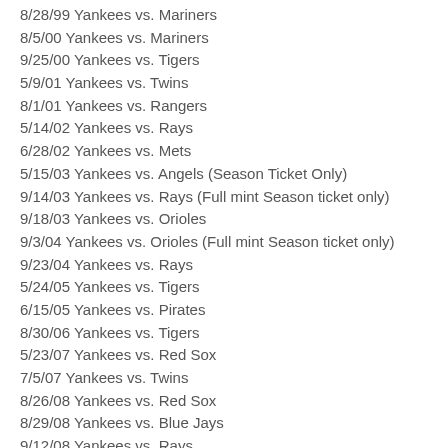8/28/99 Yankees vs. Mariners
8/5/00 Yankees vs. Mariners
9/25/00 Yankees vs. Tigers
5/9/01 Yankees vs. Twins
8/1/01 Yankees vs. Rangers
5/14/02 Yankees vs. Rays
6/28/02 Yankees vs. Mets
5/15/03 Yankees vs. Angels (Season Ticket Only)
9/14/03 Yankees vs. Rays (Full mint Season ticket only)
9/18/03 Yankees vs. Orioles
9/3/04 Yankees vs. Orioles (Full mint Season ticket only)
9/23/04 Yankees vs. Rays
5/24/05 Yankees vs. Tigers
6/15/05 Yankees vs. Pirates
8/30/06 Yankees vs. Tigers
5/23/07 Yankees vs. Red Sox
7/5/07 Yankees vs. Twins
8/26/08 Yankees vs. Red Sox
8/29/08 Yankees vs. Blue Jays
9/12/08 Yankees vs. Rays
9/14/08 Yankees vs. Rays